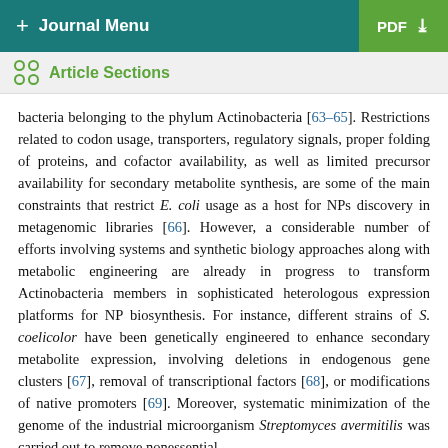+ Journal Menu  PDF ↓
Article Sections
bacteria belonging to the phylum Actinobacteria [63–65]. Restrictions related to codon usage, transporters, regulatory signals, proper folding of proteins, and cofactor availability, as well as limited precursor availability for secondary metabolite synthesis, are some of the main constraints that restrict E. coli usage as a host for NPs discovery in metagenomic libraries [66]. However, a considerable number of efforts involving systems and synthetic biology approaches along with metabolic engineering are already in progress to transform Actinobacteria members in sophisticated heterologous expression platforms for NP biosynthesis. For instance, different strains of S. coelicolor have been genetically engineered to enhance secondary metabolite expression, involving deletions in endogenous gene clusters [67], removal of transcriptional factors [68], or modifications of native promoters [69]. Moreover, systematic minimization of the genome of the industrial microorganism Streptomyces avermitilis was carried out to remove nonessential